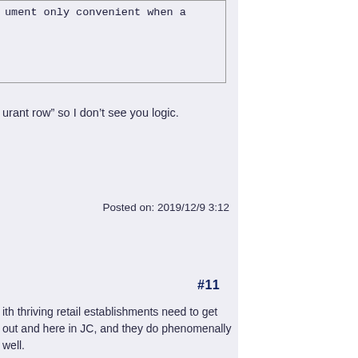ument only convenient when a
urant row” so I don’t see you logic.
Posted on: 2019/12/9 3:12
#11
ith thriving retail establishments need to get out and here in JC, and they do phenomenally well.
small. If they extended the plaza towards the West ce for retail. Our pedestrian plaza is dominated by from making it a shopping destination, since it has nts might be prohibitive for small businesses to
Posted on: 2019/12/6 21:06